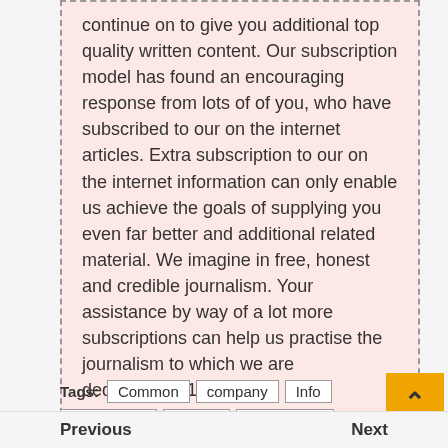continue on to give you additional top quality written content. Our subscription model has found an encouraging response from lots of of you, who have subscribed to our on the internet articles. Extra subscription to our on the internet information can only enable us achieve the goals of supplying you even far better and additional related material. We imagine in free, honest and credible journalism. Your assistance by way of a lot more subscriptions can help us practise the journalism to which we are dedicated.&#13
Help good quality journalism and subscribe to Enterprise Common.&#13
Digital Editor&#13
Tags: Common  company  Info  Information  shares  Technology